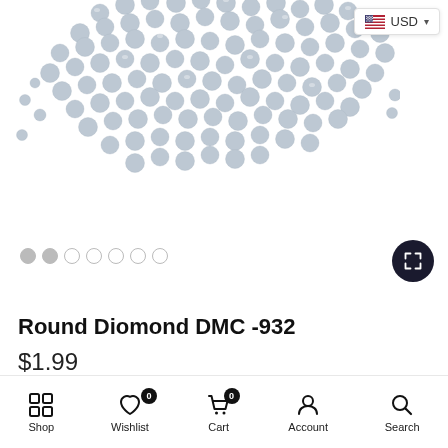[Figure (photo): A pile of small round light blue/grey diamond painting beads (drills) scattered on a white background, viewed from above.]
Round Diomond DMC -932
$1.99
Shipping calculated at checkout
Shop | Wishlist 0 | Cart 0 | Account | Search